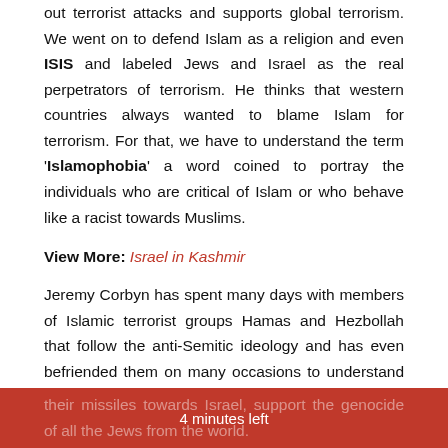out terrorist attacks and supports global terrorism. We went on to defend Islam as a religion and even ISIS and labeled Jews and Israel as the real perpetrators of terrorism. He thinks that western countries always wanted to blame Islam for terrorism. For that, we have to understand the term 'Islamophobia' a word coined to portray the individuals who are critical of Islam or who behave like a racist towards Muslims.
View More: Israel in Kashmir
Jeremy Corbyn has spent many days with members of Islamic terrorist groups Hamas and Hezbollah that follow the anti-Semitic ideology and has even befriended them on many occasions to understand their thinking. These terrorist organizations have always attacked Jews living in the western countries and you could see them pointing their missiles towards Israel, support the genocide of all the Jews from the world.
4 minutes left